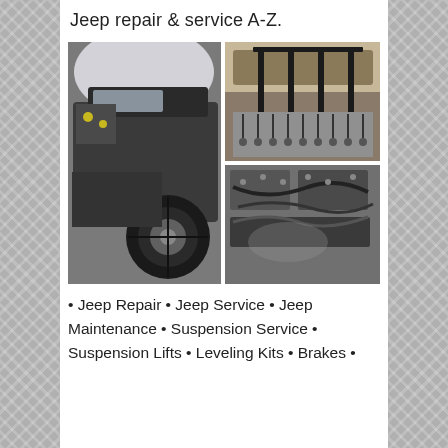Jeep repair & service A-Z.
[Figure (photo): Collage of three Jeep photos: left — full side view of a Jeep with engine exposed and large off-road tire; top right — interior/roll bar view of a Jeep with soft top; bottom right — close-up of engine components being worked on.]
• Jeep Repair • Jeep Service • Jeep Maintenance • Suspension Service • Suspension Lifts • Leveling Kits • Brakes • Engines • Transmissions • Steering •